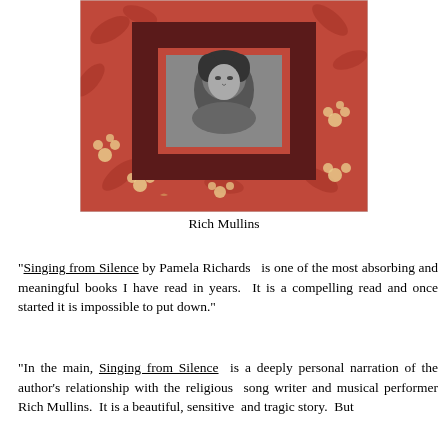[Figure (illustration): Book cover of 'Singing from Silence' by Pamela Richards. A dark red/maroon rectangular inset sits centered on a floral red-patterned background. The inset contains a smaller red-bordered black-and-white photograph of a person (Rich Mullins).]
Rich Mullins
"Singing from Silence by Pamela Richards  is one of the most absorbing and meaningful books I have read in years.  It is a compelling read and once started it is impossible to put down."
"In the main, Singing from Silence  is a deeply personal narration of the author's relationship with the religious  song writer and musical performer Rich Mullins.  It is a beautiful, sensitive  and tragic story.  But